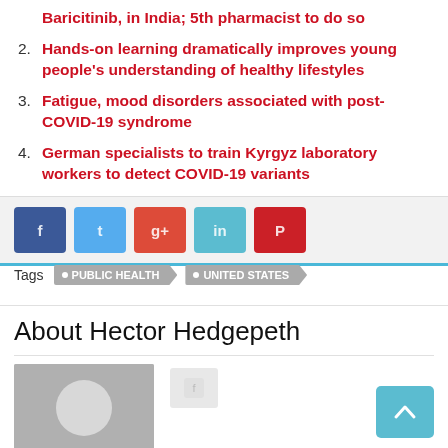Baricitinib, in India; 5th pharmacist to do so
2. Hands-on learning dramatically improves young people's understanding of healthy lifestyles
3. Fatigue, mood disorders associated with post-COVID-19 syndrome
4. German specialists to train Kyrgyz laboratory workers to detect COVID-19 variants
[Figure (other): Social sharing buttons: Facebook, Twitter, Google+, LinkedIn, Pinterest]
Tags  PUBLIC HEALTH  UNITED STATES
About Hector Hedgepeth
[Figure (photo): Default avatar silhouette of author Hector Hedgepeth with social icon button]
[Figure (other): Scroll to top button (light blue)]